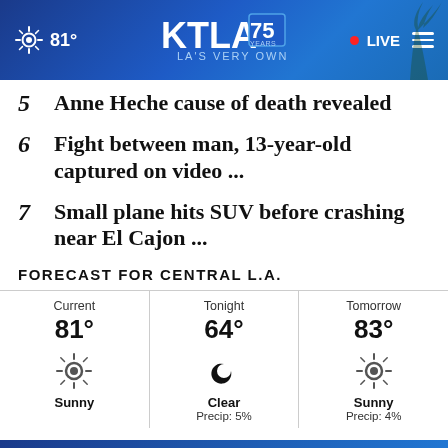81° KTLA 75 YEARS LA'S VERY OWN • LIVE
5  Anne Heche cause of death revealed
6  Fight between man, 13-year-old captured on video ...
7  Small plane hits SUV before crashing near El Cajon ...
FORECAST FOR CENTRAL L.A.
| Current | Tonight | Tomorrow |
| --- | --- | --- |
| 81° | 64° | 83° |
| Sunny | Clear
Precip: 5% | Sunny
Precip: 4% |